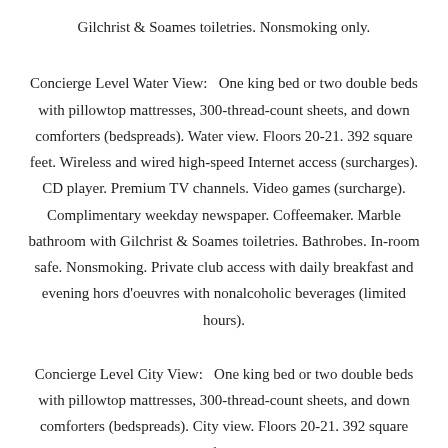Gilchrist & Soames toiletries. Nonsmoking only.
Concierge Level Water View:   One king bed or two double beds with pillowtop mattresses, 300-thread-count sheets, and down comforters (bedspreads). Water view. Floors 20-21. 392 square feet. Wireless and wired high-speed Internet access (surcharges). CD player. Premium TV channels. Video games (surcharge). Complimentary weekday newspaper. Coffeemaker. Marble bathroom with Gilchrist & Soames toiletries. Bathrobes. In-room safe. Nonsmoking. Private club access with daily breakfast and evening hors d'oeuvres with nonalcoholic beverages (limited hours).
Concierge Level City View:   One king bed or two double beds with pillowtop mattresses, 300-thread-count sheets, and down comforters (bedspreads). City view. Floors 20-21. 392 square feet.